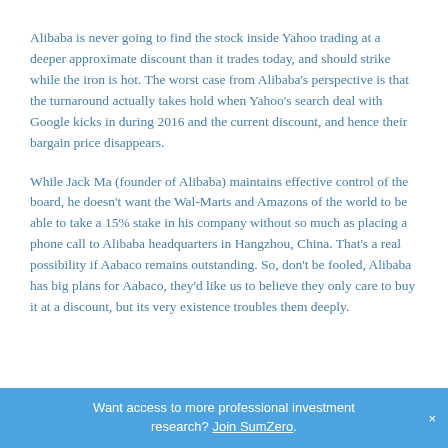Alibaba is never going to find the stock inside Yahoo trading at a deeper approximate discount than it trades today, and should strike while the iron is hot. The worst case from Alibaba's perspective is that the turnaround actually takes hold when Yahoo's search deal with Google kicks in during 2016 and the current discount, and hence their bargain price disappears.
While Jack Ma (founder of Alibaba) maintains effective control of the board, he doesn't want the Wal-Marts and Amazons of the world to be able to take a 15% stake in his company without so much as placing a phone call to Alibaba headquarters in Hangzhou, China. That's a real possibility if Aabaco remains outstanding. So, don't be fooled, Alibaba has big plans for Aabaco, they'd like us to believe they only care to buy it at a discount, but its very existence troubles them deeply.
Want access to more professional investment research? Join SumZero.